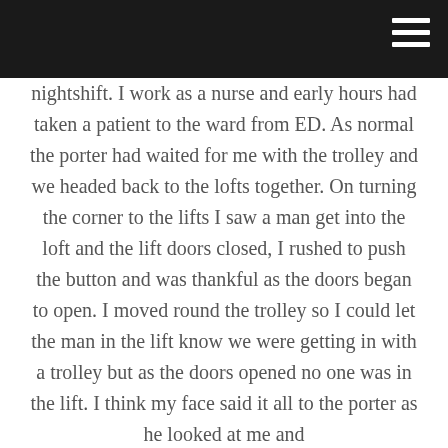nightshift. I work as a nurse and early hours had taken a patient to the ward from ED. As normal the porter had waited for me with the trolley and we headed back to the lofts together. On turning the corner to the lifts I saw a man get into the loft and the lift doors closed, I rushed to push the button and was thankful as the doors began to open. I moved round the trolley so I could let the man in the lift know we were getting in with a trolley but as the doors opened no one was in the lift. I think my face said it all to the porter as he looked at me and